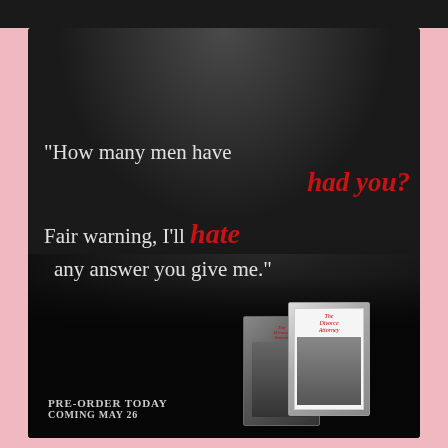[Figure (photo): Romantic black and white photo of a couple in an intimate embrace used as background for a book promotional image]
"How many men have had you? Fair warning, I'll hate any answer you give me."
[Figure (illustration): Two book covers for 'The Divorce Attorney' shown as physical books]
Pre-Order Today Coming May 26